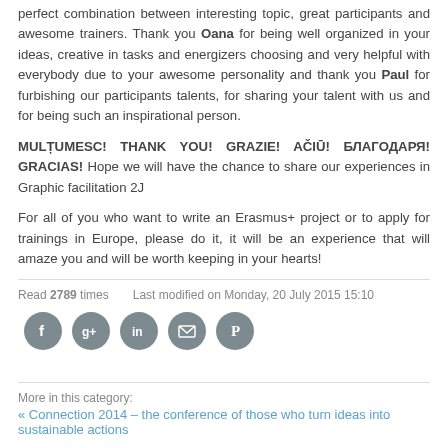perfect combination between interesting topic, great participants and awesome trainers. Thank you Oana for being well organized in your ideas, creative in tasks and energizers choosing and very helpful with everybody due to your awesome personality and thank you Paul for furbishing our participants talents, for sharing your talent with us and for being such an inspirational person.
MULȚUMESC! THANK YOU! GRAZIE! AČIŪ! БЛАГОДАРЯ! GRACIAS! Hope we will have the chance to share our experiences in Graphic facilitation 2J
For all of you who want to write an Erasmus+ project or to apply for trainings in Europe, please do it, it will be an experience that will amaze you and will be worth keeping in your hearts!
Read 2789 times   Last modified on Monday, 20 July 2015 15:10
[Figure (infographic): Social media sharing icons: Facebook, Google+, LinkedIn, Email, Pinterest — all in grey circles]
More in this category:   « Connection 2014 – the conference of those who turn ideas into sustainable actions